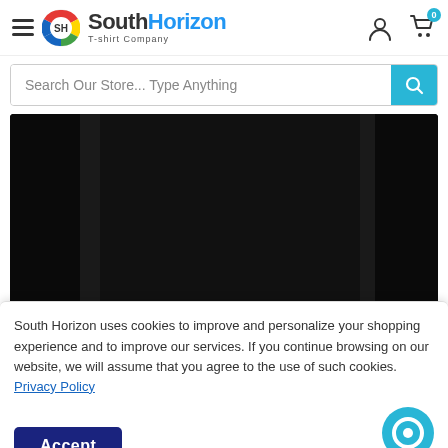[Figure (logo): South Horizon T-shirt Company logo with colorful circular SH emblem, hamburger menu icon on the left, and user/cart icons on the right]
Search Our Store... Type Anything
[Figure (photo): Black t-shirt close-up with bold white text reading 'Offers You His Protection!']
South Horizon uses cookies to improve and personalize your shopping experience and to improve our services. If you continue browsing on our website, we will assume that you agree to the use of such cookies. Privacy Policy
Accept